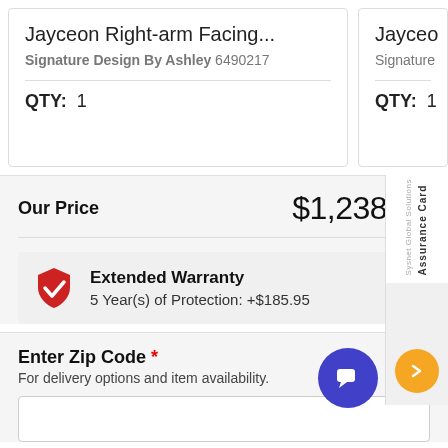Jayceon Right-arm Facing...
Signature Design By Ashley 6490217
QTY: 1
Jayced
Signature
QTY: 1
Our Price  $1,238.00
Extended Warranty
5 Year(s) of Protection: +$185.95
Enter Zip Code *
For delivery options and item availability.
- 1 +